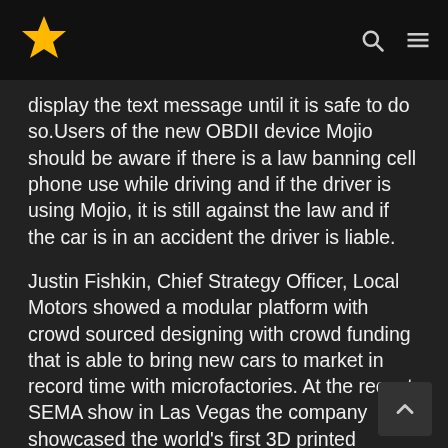[Star logo] [Search icon] [Menu icon]
display the text message until it is safe to do so.Users of the new OBDII device Mojio should be aware if there is a law banning cell phone use while driving and if the driver is using Mojio, it is still against the law and if the car is in an accident the driver is liable.
Justin Fishkin, Chief Strategy Officer, Local Motors showed a modular platform with crowd sourced designing with crowd funding that is able to bring new cars to market in record time with microfactories. At the recent SEMA show in Las Vegas the company showcased the world's first 3D printed vehicle.